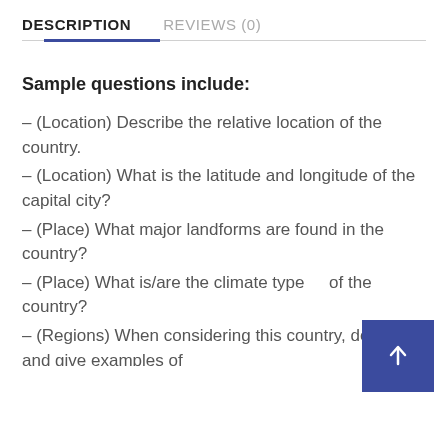DESCRIPTION    REVIEWS (0)
Sample questions include:
– (Location) Describe the relative location of the country.
– (Location) What is the latitude and longitude of the capital city?
– (Place) What major landforms are found in the country?
– (Place) What is/are the climate type(s) of the country?
– (Regions) When considering this country, describe and give examples of at least one type of functional region